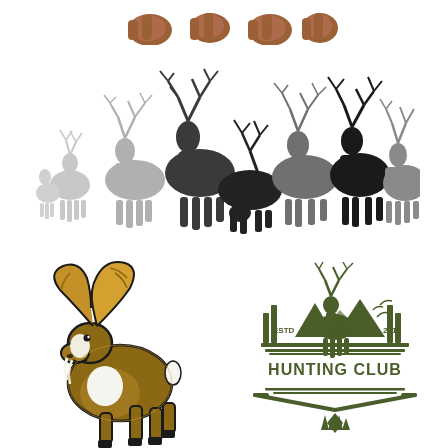[Figure (illustration): Partial view of decorative hunting-themed text/logo at top, brown colored, partially cropped]
[Figure (illustration): Silhouette group of multiple deer/elk in varying shades of gray and black, overlapping herd scene]
[Figure (illustration): Mascot illustration of a bighorn sheep/ram in gold and brown tones with black outlines, rearing up on hind legs]
[Figure (logo): Hunting Club logo in olive green: deer standing on mountain peaks with flying birds, rifles, trees, text ESTD 2019 and HUNTING CLUB]